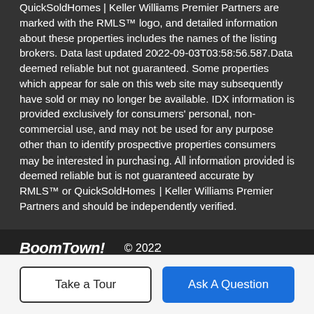QuickSoldHomes | Keller Williams Premier Partners are marked with the RMLS™ logo, and detailed information about these properties includes the names of the listing brokers. Data last updated 2022-09-03T03:58:56.587.Data deemed reliable but not guaranteed. Some properties which appear for sale on this web site may subsequently have sold or may no longer be available. IDX information is provided exclusively for consumers' personal, non-commercial use, and may not be used for any purpose other than to identify prospective properties consumers may be interested in purchasing. All information provided is deemed reliable but is not guaranteed accurate by RMLS™ or QuickSoldHomes | Keller Williams Premier Partners and should be independently verified.
BoomTown! © 2022
Terms of Use | Privacy Policy | Accessibility | DMCA | Listings Sitemap
Take a Tour
Ask A Question